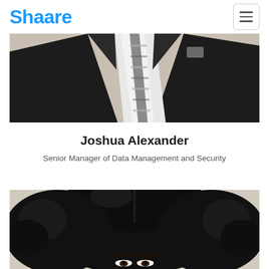Shaare
[Figure (photo): Cropped torso of a man wearing a dark suit jacket, white dress shirt, and a striped grey tie, with a neutral beige background.]
Joshua Alexander
Senior Manager of Data Management and Security
[Figure (photo): Partial view of a woman with voluminous curly black hair, visible from the top of the head down to the eyes, on a light grey background.]